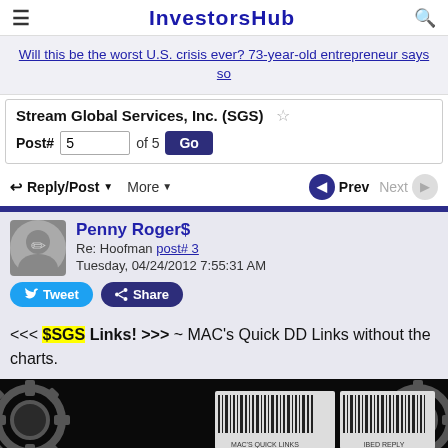InvestorsHub
Will this be the worst U.S. crisis ever? 73-year-old entrepreneur says so
Stream Global Services, Inc. (SGS)
Post# 5 of 5 Go
Reply/Post More Prev Next
Penny Roger$
Re: Hoofman post# 3
Tuesday, 04/24/2012 7:55:31 AM
<<< $SGS Links! >>> ~ MAC's Quick DD Links without the charts.
[Figure (screenshot): Dark banner image with gears on left and right, two barcodes in the center labeled MAC'S QUICK LINKS and FOR IBED REPLY]